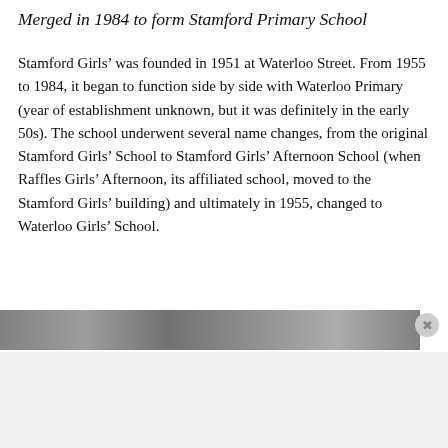Merged in 1984 to form Stamford Primary School
Stamford Girls’ was founded in 1951 at Waterloo Street. From 1955 to 1984, it began to function side by side with Waterloo Primary (year of establishment unknown, but it was definitely in the early 50s). The school underwent several name changes, from the original Stamford Girls’ School to Stamford Girls’ Afternoon School (when Raffles Girls’ Afternoon, its affiliated school, moved to the Stamford Girls’ building) and ultimately in 1955, changed to Waterloo Girls’ School.
[Figure (photo): Black and white partial photo strip, partially obscured]
Advertisements
[Figure (screenshot): DuckDuckGo advertisement banner with orange background showing phone and text: Search, browse, and email with more privacy. All in One Free App]